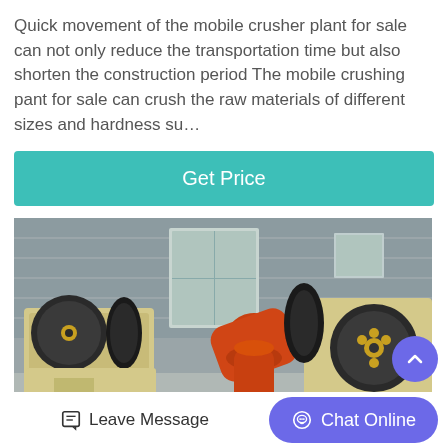Quick movement of the mobile crusher plant for sale can not only reduce the transportation time but also shorten the construction period The mobile crushing pant for sale can crush the raw materials of different sizes and hardness su…
Get Price
[Figure (photo): Industrial mobile crusher plant machines including jaw crushers with large flywheels and orange-colored pipe/chute components arranged in a factory warehouse setting.]
Leave Message
Chat Online